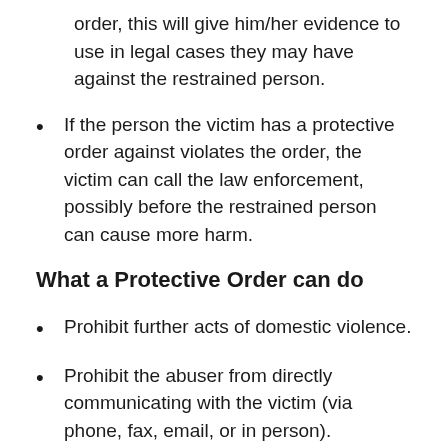order, this will give him/her evidence to use in legal cases they may have against the restrained person.
If the person the victim has a protective order against violates the order, the victim can call the law enforcement, possibly before the restrained person can cause more harm.
What a Protective Order can do
Prohibit further acts of domestic violence.
Prohibit the abuser from directly communicating with the victim (via phone, fax, email, or in person).
Prohibit the abuser from going within a